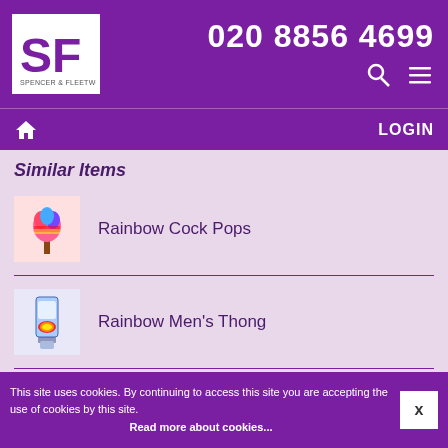020 8856 4699 — Spencer & Fleetwood
Similar Items
Rainbow Cock Pops
Rainbow Men's Thong
Rainbow Peckermints
This site uses cookies. By continuing to access this site you are accepting the use of cookies by this site. Read more about cookies...